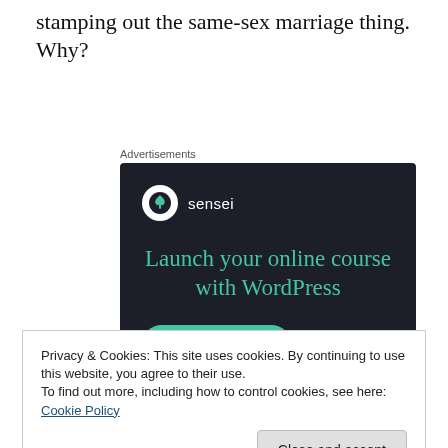stamping out the same-sex marriage thing. Why?
Advertisements
[Figure (other): Sensei advertisement on dark background. Logo with tree icon and brand name 'sensei'. Headline: 'Launch your online course with WordPress'. Button: 'Learn More'.]
Privacy & Cookies: This site uses cookies. By continuing to use this website, you agree to their use.
To find out more, including how to control cookies, see here: Cookie Policy
Close and accept